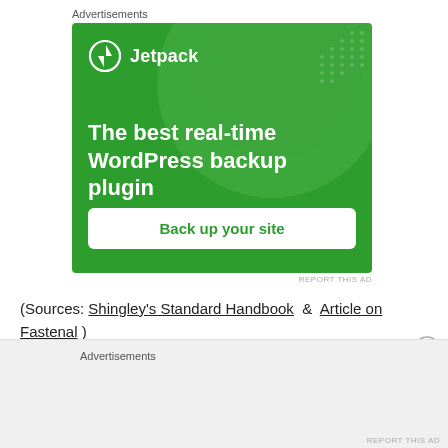Advertisements
[Figure (screenshot): Jetpack WordPress plugin advertisement banner with green background. Shows Jetpack logo, text 'The best real-time WordPress backup plugin', and a 'Back up your site' button.]
REPORT THIS AD
(Sources: Shingley's Standard Handbook  &  Article on Fastenal )
Advertisements
REPORT THIS AD